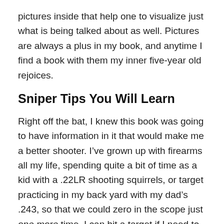pictures inside that help one to visualize just what is being talked about as well. Pictures are always a plus in my book, and anytime I find a book with them my inner five-year old rejoices.
Sniper Tips You Will Learn
Right off the bat, I knew this book was going to have information in it that would make me a better shooter. I’ve grown up with firearms all my life, spending quite a bit of time as a kid with a .22LR shooting squirrels, or target practicing in my back yard with my dad’s .243, so that we could zero in the scope just one more time. I can hit a target if I need to, is the point I’m trying to make.
However, inside this book you learn a whole lot